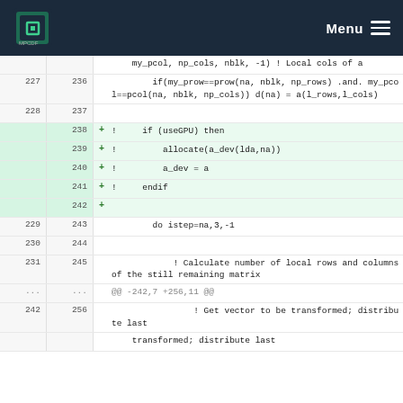MPCDF | Menu
Code diff showing Fortran source changes. Lines 227-242 (old) vs 236-256 (new). Added lines 238-242 with GPU-related commented code: if (useGPU) then, allocate(a_dev(lda,na)), a_dev = a, endif. Context shows local cols of a, matrix row/col checks, do loop, and calculate local rows/columns comment.